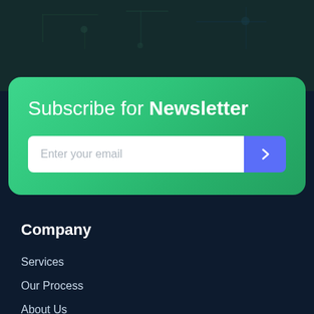[Figure (photo): Dark background photo showing electronics/circuit board workspace with dark overlay]
Subscribe for Newsletter
Enter your email
Company
Services
Our Process
About Us
Blog
Quick Links